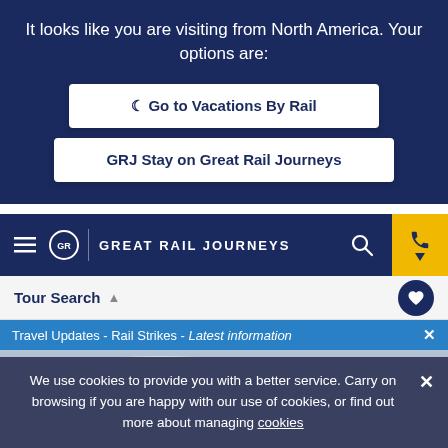It looks like you are visiting from North America. Your options are:
Go to Vacations By Rail
GRJ Stay on Great Rail Journeys
GREAT RAIL JOURNEYS
Tour Search
Travel Updates - Rail Strikes - Latest information
[Figure (photo): Scenic sky with clouds at dusk, pink and purple hues]
We use cookies to provide you with a better service. Carry on browsing if you are happy with our use of cookies, or find out more about managing cookies